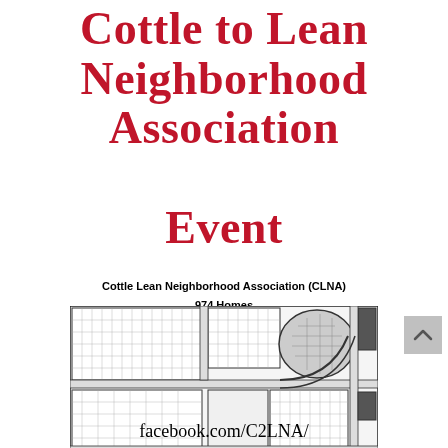Cottle to Lean Neighborhood Association Event
Cottle Lean Neighborhood Association (CLNA)
974 Homes
[Figure (map): Neighborhood map showing the Cottle Lean area with street layouts, residential lots, and surrounding roads. Black and white subdivision plat map with shaded areas.]
facebook.com/C2LNA/